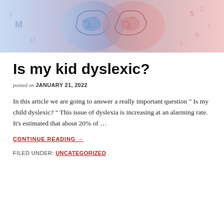[Figure (illustration): Two human head silhouettes facing each other with brain illustrations inside — one blue-tinted on the left and one red-tinted on the right, with floating letters and numbers around them suggesting learning or cognitive themes.]
Is my kid dyslexic?
posted on JANUARY 21, 2022
In this article we are going to answer a really important question " Is my child dyslexic? " This issue of dyslexia is increasing at an alarming rate. It's estimated that about 20% of …
CONTINUE READING →
FILED UNDER: UNCATEGORIZED